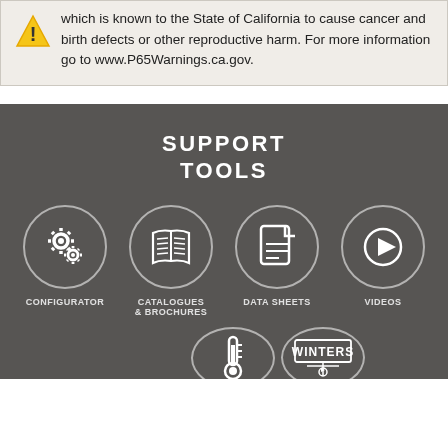which is known to the State of California to cause cancer and birth defects or other reproductive harm. For more information go to www.P65Warnings.ca.gov.
SUPPORT TOOLS
[Figure (infographic): Four circular icon buttons for support tools: Configurator (gear icons), Catalogues & Brochures (open book icon), Data Sheets (document icon), Videos (play button icon), plus two partially visible circles at bottom for additional tools including a thermometer icon and a Winters logo.]